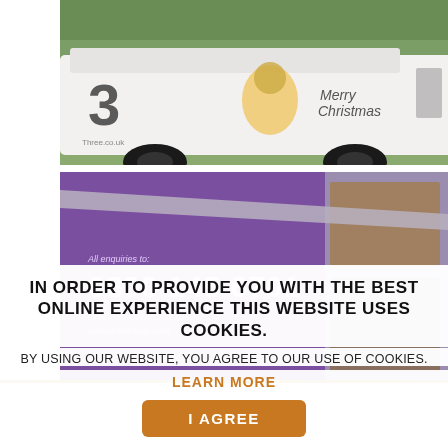[Figure (photo): White van with '3' logo and 'Merry Christmas' text, parked outdoors with trees in background]
[Figure (photo): Purple building exterior/billboard showing '0800 145 6701', 'All enquiries to:', email and website]
IN ORDER TO PROVIDE YOU WITH THE BEST ONLINE EXPERIENCE THIS WEBSITE USES COOKIES.
BY USING OUR WEBSITE, YOU AGREE TO OUR USE OF COOKIES.
LEARN MORE
I AGREE